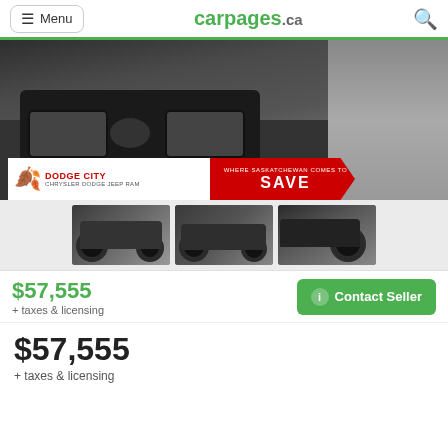Menu  carpages.ca
[Figure (photo): Front view of a black Ram pickup truck in a dealership, with Dodge City Chrysler Dodge Jeep Ram dealer banner overlay saying WHERE SASKATCHEWAN COMES TO SAVE]
[Figure (photo): Three thumbnail images of the same black Ram pickup truck from different angles]
$57,555
+ taxes & licensing
Contact Seller
$57,555
+ taxes & licensing